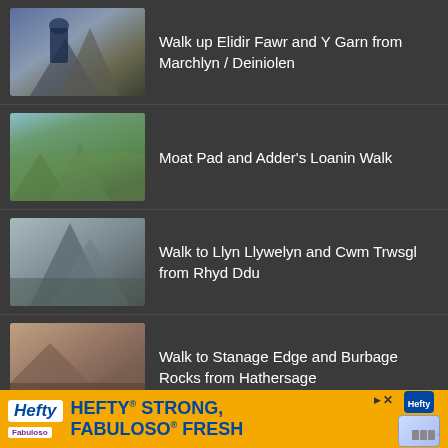Walk up Elidir Fawr and Y Garn from Marchlyn / Deiniolen
Moat Pad and Adder's Loanin Walk
Walk to Llyn Llywelyn and Cwm Trwsgl from Rhyd Ddu
Walk to Stanage Edge and Burbage Rocks from Hathersage
Walk up Slieve Bearnagh
Walk up Slieve Commedagh via Hare's Gap
[Figure (infographic): Advertisement banner: Hefty Strong, Fabuloso Fresh product ad with yellow/orange background and blue text]